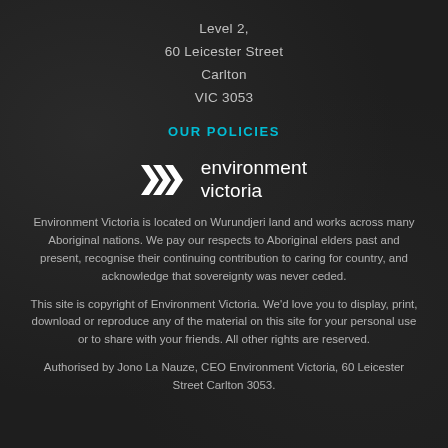Level 2,
60 Leicester Street
Carlton
VIC 3053
OUR POLICIES
[Figure (logo): Environment Victoria logo with three white chevrons and white text reading 'environment victoria']
Environment Victoria is located on Wurundjeri land and works across many Aboriginal nations. We pay our respects to Aboriginal elders past and present, recognise their continuing contribution to caring for country, and acknowledge that sovereignty was never ceded.
This site is copyright of Environment Victoria. We'd love you to display, print, download or reproduce any of the material on this site for your personal use or to share with your friends. All other rights are reserved.
Authorised by Jono La Nauze, CEO Environment Victoria, 60 Leicester Street Carlton 3053.